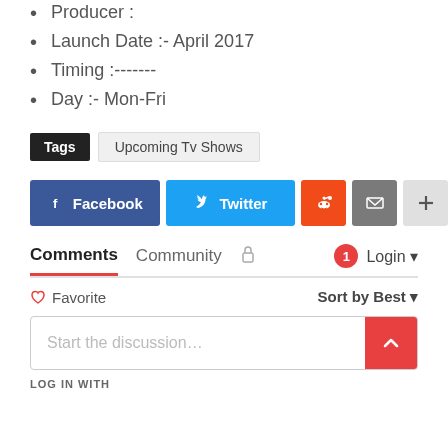Producer :
Launch Date :- April 2017
Timing :-------
Day :- Mon-Fri
Tags   Upcoming Tv Shows
[Figure (other): Social share buttons: Facebook, Twitter, Reddit, Email, Plus]
Comments   Community   [lock icon]   [1 badge]   Login
♡ Favorite   Sort by Best
Start the discussion...
LOG IN WITH